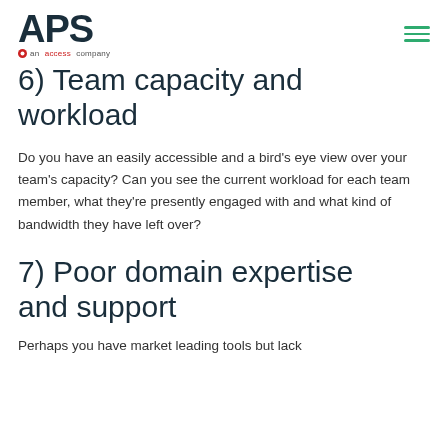[Figure (logo): APS logo - an Access company, with hamburger menu icon on the right]
6) Team capacity and workload
Do you have an easily accessible and a bird's eye view over your team's capacity? Can you see the current workload for each team member, what they're presently engaged with and what kind of bandwidth they have left over?
7) Poor domain expertise and support
Perhaps you have market leading tools but lack